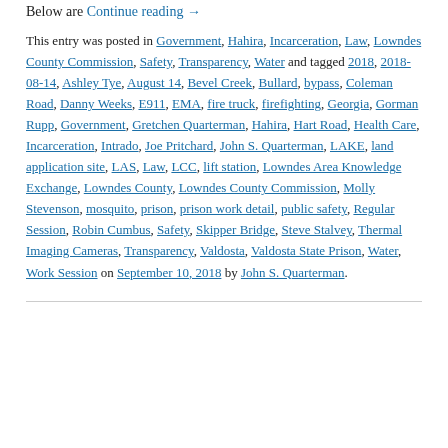Below are Continue reading →
This entry was posted in Government, Hahira, Incarceration, Law, Lowndes County Commission, Safety, Transparency, Water and tagged 2018, 2018-08-14, Ashley Tye, August 14, Bevel Creek, Bullard, bypass, Coleman Road, Danny Weeks, E911, EMA, fire truck, firefighting, Georgia, Gorman Rupp, Government, Gretchen Quarterman, Hahira, Hart Road, Health Care, Incarceration, Intrado, Joe Pritchard, John S. Quarterman, LAKE, land application site, LAS, Law, LCC, lift station, Lowndes Area Knowledge Exchange, Lowndes County, Lowndes County Commission, Molly Stevenson, mosquito, prison, prison work detail, public safety, Regular Session, Robin Cumbus, Safety, Skipper Bridge, Steve Stalvey, Thermal Imaging Cameras, Transparency, Valdosta, Valdosta State Prison, Water, Work Session on September 10, 2018 by John S. Quarterman.